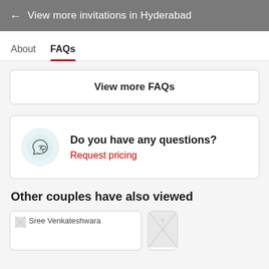← View more invitations in Hyderabad
About   FAQs
View more FAQs
Do you have any questions? Request pricing
Other couples have also viewed
[Figure (screenshot): Vendor card thumbnail labeled 'Sree Venkateshwara']
[Figure (screenshot): Partial vendor card thumbnail]